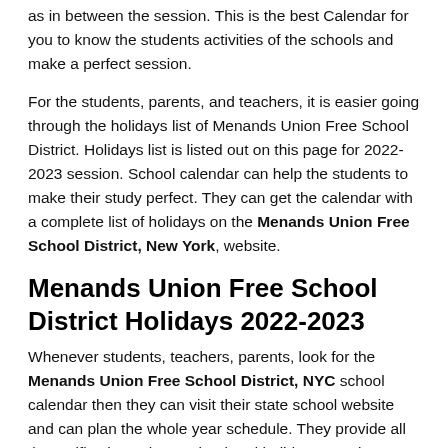as in between the session. This is the best Calendar for you to know the students activities of the schools and make a perfect session.
For the students, parents, and teachers, it is easier going through the holidays list of Menands Union Free School District. Holidays list is listed out on this page for 2022-2023 session. School calendar can help the students to make their study perfect. They can get the calendar with a complete list of holidays on the Menands Union Free School District, New York, website.
Menands Union Free School District Holidays 2022-2023
Whenever students, teachers, parents, look for the Menands Union Free School District, NYC school calendar then they can visit their state school website and can plan the whole year schedule. They provide all the notifications about school and holidays appointments streaming and